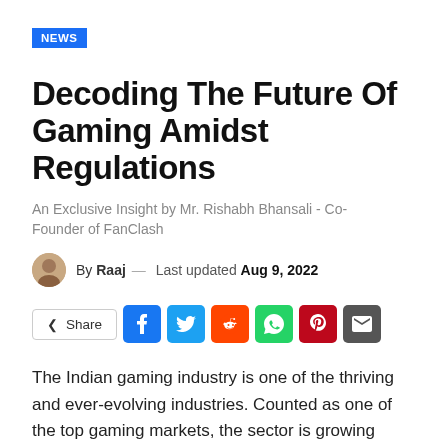NEWS
Decoding The Future Of Gaming Amidst Regulations
An Exclusive Insight by Mr. Rishabh Bhansali - Co-Founder of FanClash
By Raaj — Last updated Aug 9, 2022
[Figure (other): Share bar with Facebook, Twitter, Reddit, WhatsApp, Pinterest, Email social buttons]
The Indian gaming industry is one of the thriving and ever-evolving industries. Counted as one of the top gaming markets, the sector is growing rapidly